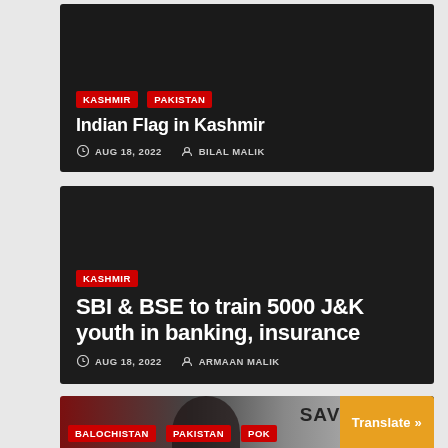[Figure (screenshot): News article card with dark background. Tags: KASHMIR, PAKISTAN]
Indian Flag in Kashmir
AUG 18, 2022  BILAL MALIK
[Figure (screenshot): News article card with dark background. Tag: KASHMIR]
SBI & BSE to train 5000 J&K youth in banking, insurance
AUG 18, 2022  ARMAAN MALIK
[Figure (photo): Partial news card with photo of a person and SAVE text. Tags: BALOCHISTAN, PAKISTAN, POK. Translate button visible.]